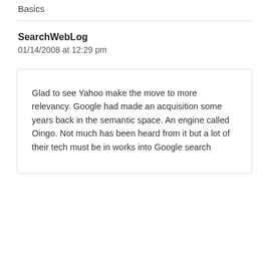Basics
SearchWebLog
01/14/2008 at 12:29 pm
Glad to see Yahoo make the move to more relevancy. Google had made an acquisition some years back in the semantic space. An engine called Oingo. Not much has been heard from it but a lot of their tech must be in works into Google search